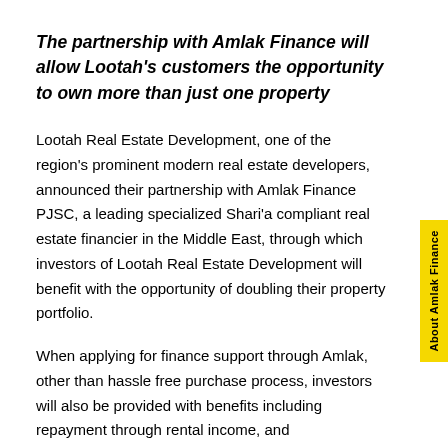The partnership with Amlak Finance will allow Lootah's customers the opportunity to own more than just one property
Lootah Real Estate Development, one of the region's prominent modern real estate developers, announced their partnership with Amlak Finance PJSC, a leading specialized Shari'a compliant real estate financier in the Middle East, through which investors of Lootah Real Estate Development will benefit with the opportunity of doubling their property portfolio.
When applying for finance support through Amlak, other than hassle free purchase process, investors will also be provided with benefits including repayment through rental income, and complimentary property management and preventive maintenance services for their next prized investment